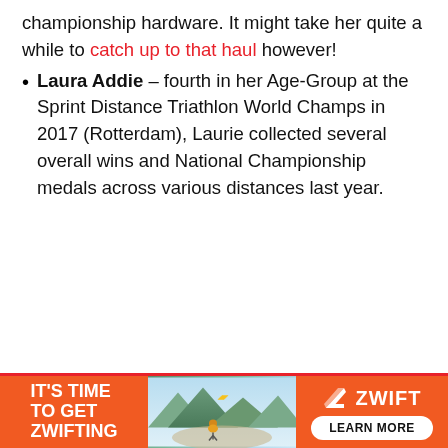championship hardware. It might take her quite a while to catch up to that haul however!
Laura Addie – fourth in her Age-Group at the Sprint Distance Triathlon World Champs in 2017 (Rotterdam), Laurie collected several overall wins and National Championship medals across various distances last year.
[Figure (other): Zwift advertisement banner with orange background, cyclist photo in center, and 'IT'S TIME TO GET ZWIFTING' text on left with Zwift logo and LEARN MORE button on right]